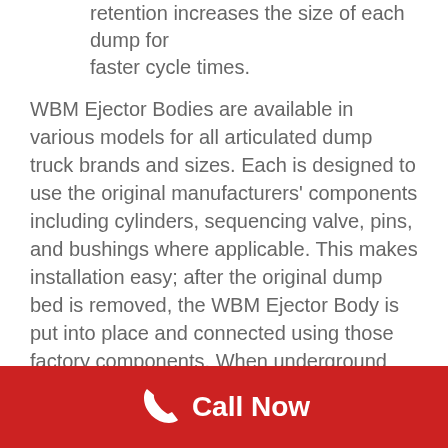retention increases the size of each dump for faster cycle times.
WBM Ejector Bodies are available in various models for all articulated dump truck brands and sizes. Each is designed to use the original manufacturers' components including cylinders, sequencing valve, pins, and bushings where applicable. This makes installation easy; after the original dump bed is removed, the WBM Ejector Body is put into place and connected using those factory components. When underground installation is required, Weldco manufactures the components sized to fit in the elevators and then those components are welded together and installed underground.
Call Now